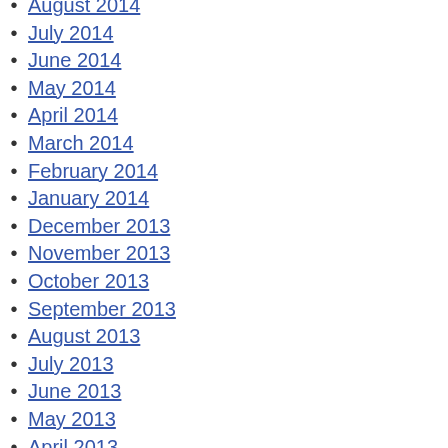August 2014
July 2014
June 2014
May 2014
April 2014
March 2014
February 2014
January 2014
December 2013
November 2013
October 2013
September 2013
August 2013
July 2013
June 2013
May 2013
April 2013
March 2013
February 2013
January 2013
December 2012
November 2012